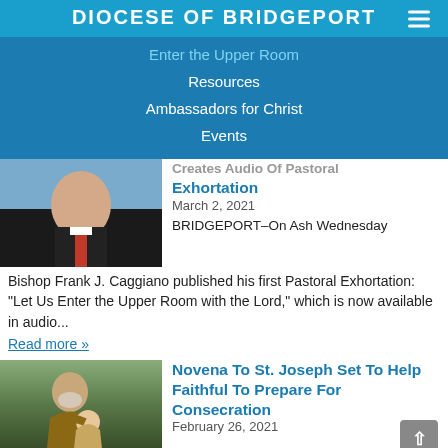DIOCESE OF BRIDGEPORT
Enter the Upper Room
Resources
Ambassadors for Christ
Events
[Figure (photo): Headshot of a man in a dark suit with red tie, partially cropped at top]
Creates Audio Of Pastoral Exhortation
March 2, 2021
BRIDGEPORT–On Ash Wednesday Bishop Frank J. Caggiano published his first Pastoral Exhortation: “Let Us Enter the Upper Room with the Lord,” which is now available in audio...
Read more »
[Figure (photo): Painting of St. Joseph holding baby Jesus, with text overlay TONIGHT AT 7 PM]
Novena To St. Joseph Set To Help Faithful To Prepare For Consecration
February 26, 2021